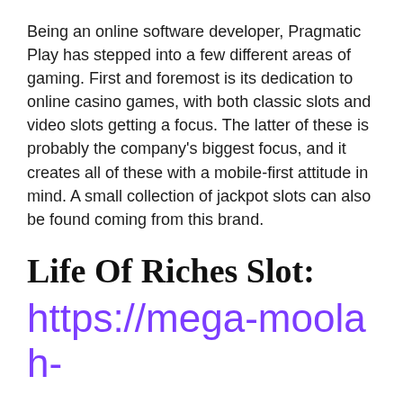Being an online software developer, Pragmatic Play has stepped into a few different areas of gaming. First and foremost is its dedication to online casino games, with both classic slots and video slots getting a focus. The latter of these is probably the company's biggest focus, and it creates all of these with a mobile-first attitude in mind. A small collection of jackpot slots can also be found coming from this brand.
Life Of Riches Slot:
https://mega-moolah-